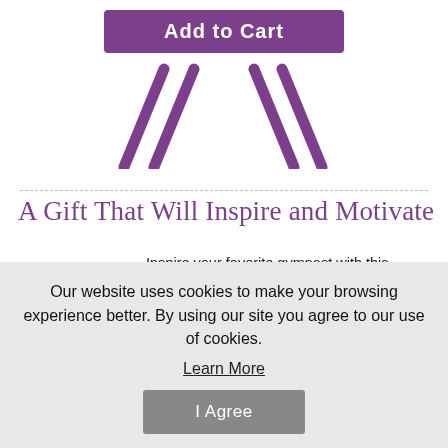[Figure (illustration): Purple 'Add to Cart' button with an easel/stand graphic below it in purple]
A Gift That Will Inspire and Motivate
[Figure (illustration): Green truck with 'FREE SHIPPING' banner badge]
Inspire your favorite gymnast with this motivational poster of Simone Biles, the most decorated U.S. gymnast in the history of the World Championships. The wall art and accompanying inspirational message are printed on
Our website uses cookies to make your browsing experience better. By using our site you agree to our use of cookies.
Learn More
I Agree